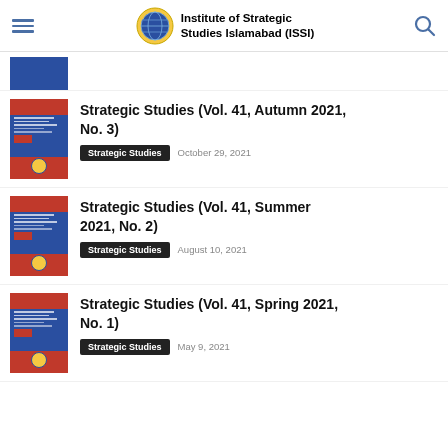Institute of Strategic Studies Islamabad (ISSI)
[Figure (illustration): Partially visible journal cover thumbnail (clipped at top)]
[Figure (illustration): Journal cover for Strategic Studies Vol. 41, Autumn 2021, No. 3 — blue and red cover with ISSI logo]
Strategic Studies (Vol. 41, Autumn 2021, No. 3)
Strategic Studies   October 29, 2021
[Figure (illustration): Journal cover for Strategic Studies Vol. 41, Summer 2021, No. 2 — blue and red cover with ISSI logo]
Strategic Studies (Vol. 41, Summer 2021, No. 2)
Strategic Studies   August 10, 2021
[Figure (illustration): Journal cover for Strategic Studies Vol. 41, Spring 2021, No. 1 — blue and red cover with ISSI logo]
Strategic Studies (Vol. 41, Spring 2021, No. 1)
Strategic Studies   May 9, 2021